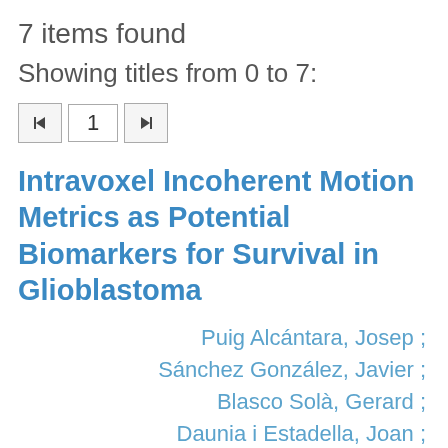7 items found
Showing titles from 0 to 7:
1
Intravoxel Incoherent Motion Metrics as Potential Biomarkers for Survival in Glioblastoma
Puig Alcántara, Josep ;
Sánchez González, Javier ;
Blasco Solà, Gerard ;
Daunia i Estadella, Joan ;